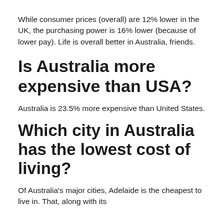While consumer prices (overall) are 12% lower in the UK, the purchasing power is 16% lower (because of lower pay). Life is overall better in Australia, friends.
Is Australia more expensive than USA?
Australia is 23.5% more expensive than United States.
Which city in Australia has the lowest cost of living?
Of Australia's major cities, Adelaide is the cheapest to live in. That, along with its